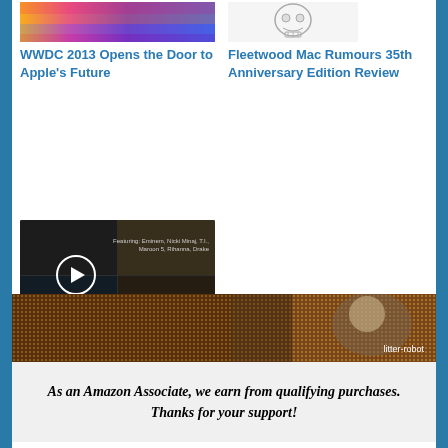[Figure (screenshot): Rainbow gradient image thumbnail for WWDC 2013 article]
WWDC 2013 Opens the Door to Apple's Future
[Figure (illustration): Skull illustration for Fleetwood Mac article]
Fleetwood Mac Rumours 35th Anniversary Edition Review
[Figure (screenshot): Beats Music app screenshot with grid of album art, play button overlay, featuring Eminem, Nicki Minaj, T.I., Maroon 5, Rihanna, Drake. Beats Pop.]
Beats Music – Innovator, a Pandora Clone, or the Best of Both Worlds?
[Figure (photo): Litter-Robot advertisement banner with colorful patterned background, woman and cat, LEARN MORE button]
As an Amazon Associate, we earn from qualifying purchases. Thanks for your support!